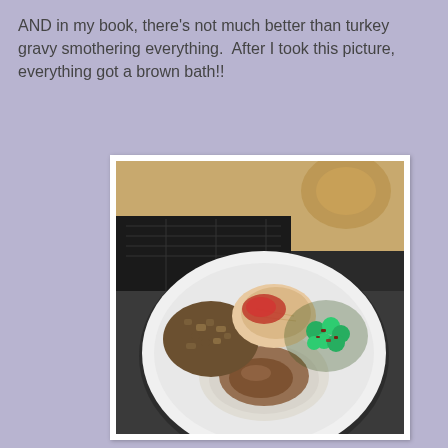AND in my book, there's not much better than turkey gravy smothering everything.  After I took this picture, everything got a brown bath!!
[Figure (photo): A white dinner plate with Thanksgiving food including mashed potatoes covered in brown gravy, stuffing, sliced turkey with cranberry sauce, and broccoli with bacon bits. A stove and decorative tile backsplash are visible in the background.]